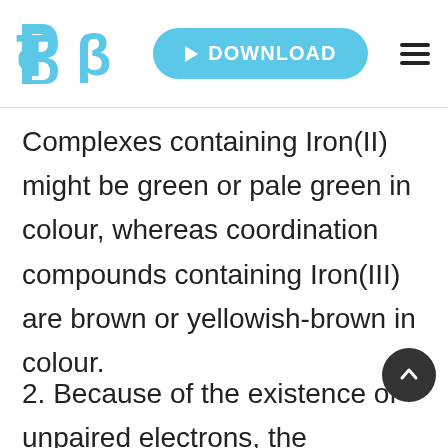B | DOWNLOAD
Complexes containing Iron(II) might be green or pale green in colour, whereas coordination compounds containing Iron(III) are brown or yellowish-brown in colour.
2. Because of the existence of unpaired electrons, the